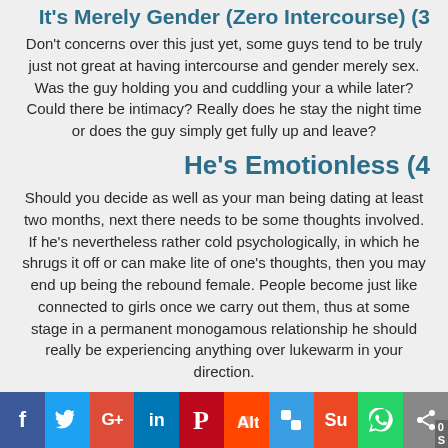It's Merely Gender (Zero Intercourse) (3
Don't concerns over this just yet, some guys tend to be truly just not great at having intercourse and gender merely sex. Was the guy holding you and cuddling your a while later? Could there be intimacy? Really does he stay the night time or does the guy simply get fully up and leave?
He's Emotionless (4
Should you decide as well as your man being dating at least two months, next there needs to be some thoughts involved. If he's nevertheless rather cold psychologically, in which he shrugs it off or can make lite of one's thoughts, then you may end up being the rebound female. People become just like connected to girls once we carry out them, thus at some stage in a permanent monogamous relationship he should really be experiencing anything over lukewarm in your direction.
The Guy However Covers His Ex (5
When...